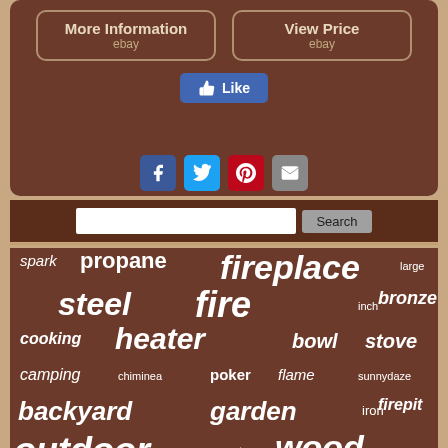[Figure (screenshot): Two eBay-style buttons: 'More Information ebay' and 'View Price ebay' on a dark brown rounded card]
[Figure (screenshot): Facebook Like button in blue]
[Figure (screenshot): Social sharing icons: Facebook (blue), Twitter (blue), Pinterest (red), Email (grey)]
[Figure (screenshot): Search bar with text input and Search button]
[Figure (infographic): Word/tag cloud on dark brown background with fire-related product keywords: spark, propane, fireplace, large, steel, fire, bronze, inch, cooking, heater, bowl, stove, camping, chiminea, poker, flame, sunnydaze, backyard, garden, iron, firepit, outdoor, grate, wood, screen]